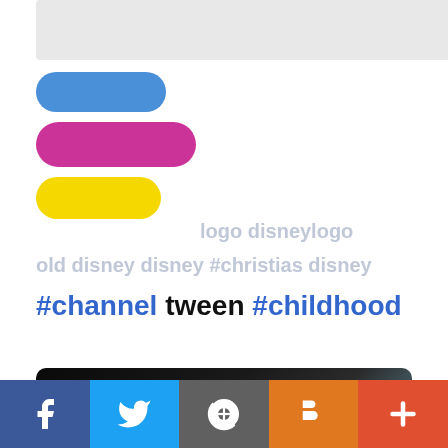[Figure (logo): Three colored pill/oval shapes stacked: blue, pink/magenta, yellow — app or brand logo]
on #disney logo disneylogo old disney disney #christias disney #channel tween #childhood
[Figure (photo): Dark photographic image showing what appears to be a forest or architectural scene at night, with dark left side and lighter textured surface on right side]
Facebook Twitter WordPress Blogger +